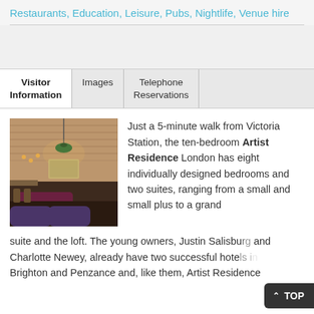Restaurants, Education, Leisure, Pubs, Nightlife, Venue hire
Visitor Information | Images | Telephone Reservations
[Figure (photo): Interior photo of a bar/lounge with brick walls, pendant lamps, bar stools, and purple seating]
Just a 5-minute walk from Victoria Station, the ten-bedroom Artist Residence London has eight individually designed bedrooms and two suites, ranging from a small and small plus to a grand suite and the loft. The young owners, Justin Salisbury and Charlotte Newey, already have two successful hotels in Brighton and Penzance and, like them, Artist Residence